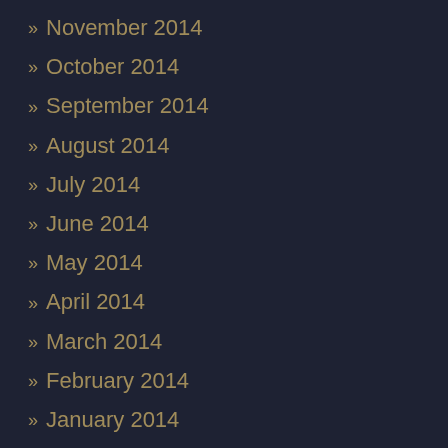» November 2014
» October 2014
» September 2014
» August 2014
» July 2014
» June 2014
» May 2014
» April 2014
» March 2014
» February 2014
» January 2014
» December 2013
» November 2013
» October 2013